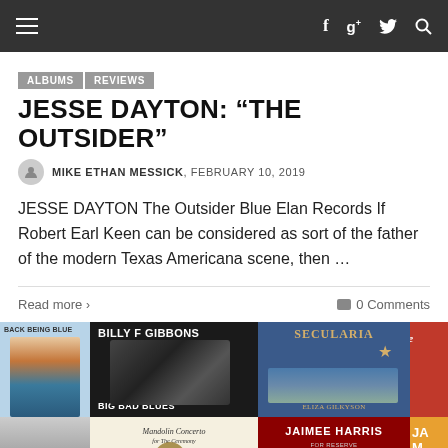Navigation bar with hamburger menu and social icons (f, g+, twitter, search)
ALBUMS
REVIEWS
JESSE DAYTON: “THE OUTSIDER”
MIKE ETHAN MESSICK, FEBRUARY 10, 2019
JESSE DAYTON The Outsider Blue Elan Records If Robert Earl Keen can be considered as sort of the father of the modern Texas Americana scene, then …
Read more ›
0 Comments
[Figure (photo): Grid of album covers including Billy F Gibbons The Big Bad Blues, Secularia by Eliza Gilkyson, Back Being Blue, Secret (partial), and bottom row partial album covers including Jaimee Harris]